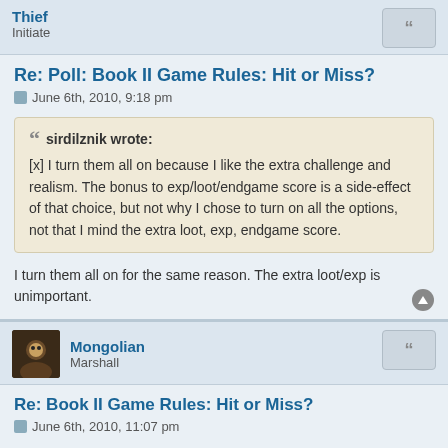Thief
Initiate
Re: Poll: Book II Game Rules: Hit or Miss?
June 6th, 2010, 9:18 pm
sirdilznik wrote:
[x] I turn them all on because I like the extra challenge and realism. The bonus to exp/loot/endgame score is a side-effect of that choice, but not why I chose to turn on all the options, not that I mind the extra loot, exp, endgame score.
I turn them all on for the same reason. The extra loot/exp is unimportant.
Mongolian
Marshall
Re: Book II Game Rules: Hit or Miss?
June 6th, 2010, 11:07 pm
OMGoooodness. I waited so long to play Book 2 that I totally forgot about the game. Really nice job on upgrading the website. It looks like all the